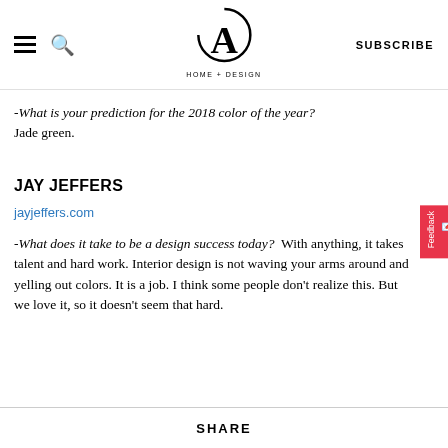CA HOME + DESIGN | SUBSCRIBE
-What is your prediction for the 2018 color of the year? Jade green.
JAY JEFFERS
jayjeffers.com
-What does it take to be a design success today? With anything, it takes talent and hard work. Interior design is not waving your arms around and yelling out colors. It is a job. I think some people don't realize this. But we love it, so it doesn't seem that hard.
SHARE